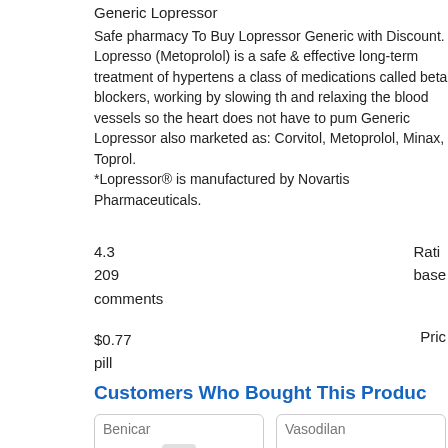Generic Lopressor
Safe pharmacy To Buy Lopressor Generic with Discount. Lopressor (Metoprolol) is a safe & effective long-term treatment of hypertension, a class of medications called beta blockers, working by slowing the and relaxing the blood vessels so the heart does not have to pump. Generic Lopressor also marketed as: Corvitol, Metoprolol, Minax, Toprol.
*Lopressor® is manufactured by Novartis Pharmaceuticals.
4.3
209
comments
Rati
base
$0.77
pill
Pric
Customers Who Bought This Produc
[Figure (photo): Benicar product card showing a green medicine bottle labeled Benicar 20mg]
[Figure (photo): Vasodilan product card showing a white round pill with M and Sue markings]